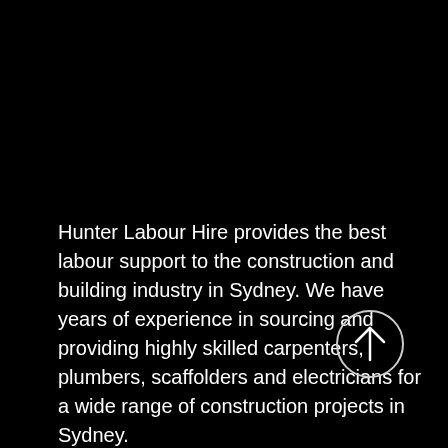Hunter Labour Hire provides the best labour support to the construction and building industry in Sydney. We have years of experience in sourcing and providing highly skilled carpenters, plumbers, scaffolders and electricians for a wide range of construction projects in Sydney.
[Figure (other): A circular button with a white border and an upward-pointing arrow icon on a black background]